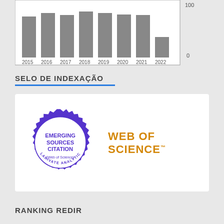[Figure (bar-chart): Publications by year]
SELO DE INDEXAÇÃO
[Figure (illustration): Seal badge reading 'INDEXED IN EMERGING SOURCES CITATION (Web of Science) CLARIVATE ANALYTICS' in purple, alongside the 'WEB OF SCIENCE' logo in orange.]
RANKING REDIR